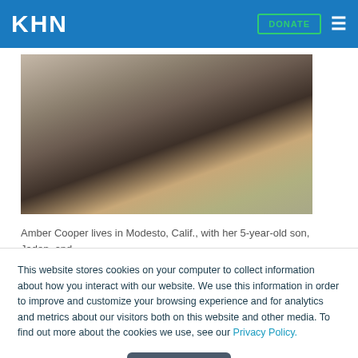KHN — DONATE
[Figure (photo): A woman bending down and hugging a young child outdoors in front of residential buildings.]
Amber Cooper lives in Modesto, Calif., with her 5-year-old son, Jaden, and...
This website stores cookies on your computer to collect information about how you interact with our website. We use this information in order to improve and customize your browsing experience and for analytics and metrics about our visitors both on this website and other media. To find out more about the cookies we use, see our Privacy Policy.